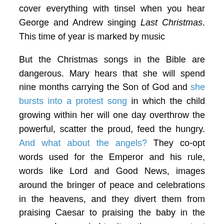cover everything with tinsel when you hear George and Andrew singing Last Christmas. This time of year is marked by music
But the Christmas songs in the Bible are dangerous. Mary hears that she will spend nine months carrying the Son of God and she bursts into a protest song in which the child growing within her will one day overthrow the powerful, scatter the proud, feed the hungry. And what about the angels? They co-opt words used for the Emperor and his rule, words like Lord and Good News, images around the bringer of peace and celebrations in the heavens, and they divert them from praising Caesar to praising the baby in the manger. In occupied territory these are protest songs, dangerous songs; sings these songs and your name ends up on a list somewhere.